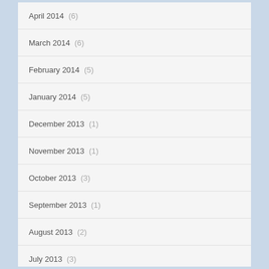April 2014 (6)
March 2014 (6)
February 2014 (5)
January 2014 (5)
December 2013 (1)
November 2013 (1)
October 2013 (3)
September 2013 (1)
August 2013 (2)
July 2013 (3)